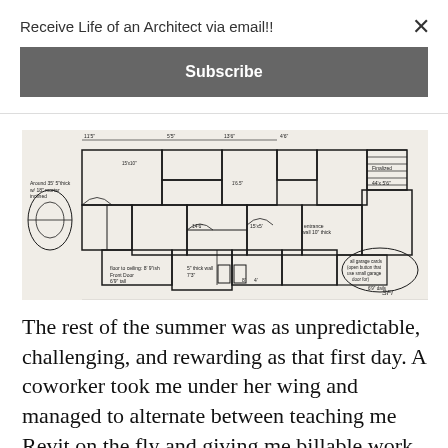Receive Life of an Architect via email!!
Subscribe
[Figure (photo): Hand-drawn architectural floor plan sketch with dimensions, room labels, and annotations in pencil on white paper]
The rest of the summer was as unpredictable, challenging, and rewarding as that first day. A coworker took me under her wing and managed to alternate between teaching me Revit on the fly and giving me billable work to